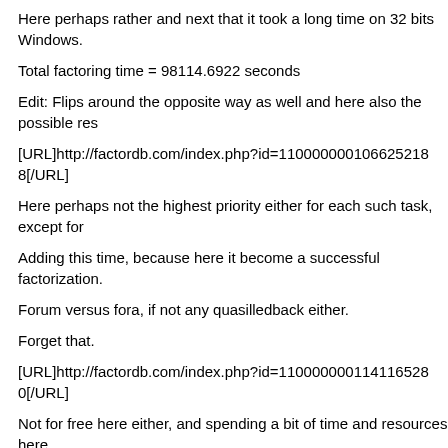Here perhaps rather and next that it took a long time on 32 bits Windows.
Total factoring time = 98114.6922 seconds
Edit: Flips around the opposite way as well and here also the possible res
[URL]http://factordb.com/index.php?id=110000000106625218 8[/URL]
Here perhaps not the highest priority either for each such task, except for
Adding this time, because here it become a successful factorization.
Forum versus fora, if not any quasilledback either.
Forget that.
[URL]http://factordb.com/index.php?id=110000000114116528 0[/URL]
Not for free here either, and spending a bit of time and resources here.
Anyway, here just a little problem being noticed.
[url]http://factordb.com/index.php?id=110000000150319480 5[/url]